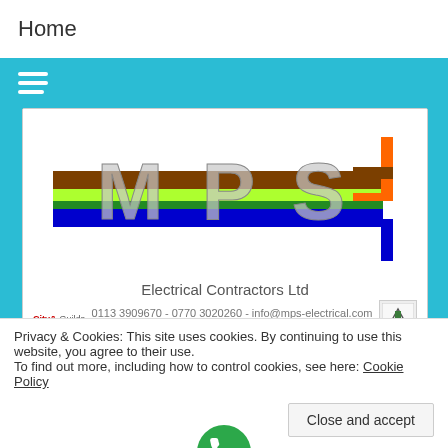Home
[Figure (logo): MPS Electrical Contractors Ltd logo with colored wires (brown, yellow-green, blue) and text: Electrical Contractors Ltd, 0113 3909670 - 0770 3020260 - info@mps-electrical.com, www.mps-electrical.com - www.electricians-leeds.com, City & Guilds logo, NAPIT approved logo]
[Figure (infographic): Row of 7 social media icon circles (Twitter, Facebook, LinkedIn, YouTube, Google+, Instagram, Share) in white outline on teal background]
Privacy & Cookies: This site uses cookies. By continuing to use this website, you agree to their use.
To find out more, including how to control cookies, see here: Cookie Policy
Close and accept